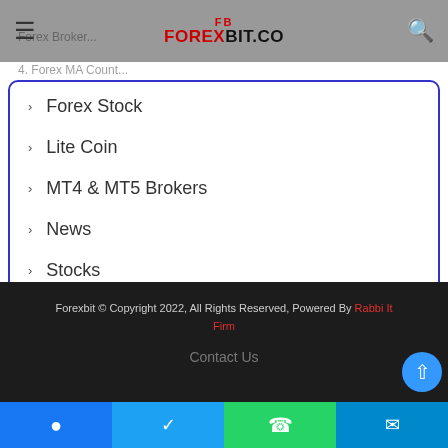FOREXBIT.CO
Forex Stock
Lite Coin
MT4 & MT5 Brokers
News
Stocks
Website
Forexbit © Copyright 2022, All Rights Reserved, Powered By Rabbi It Firm
Contact Us